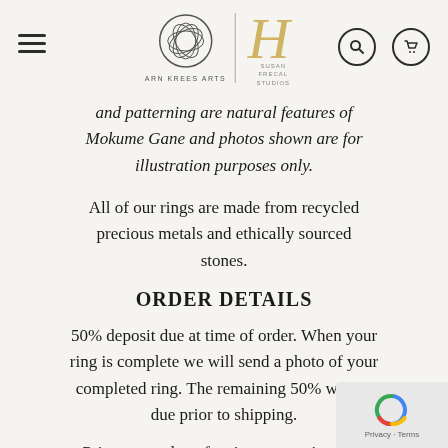Arn Krees Arts | Susan Frecal Studios — navigation header
and patterning are natural features of Mokume Gane and photos shown are for illustration purposes only.
All of our rings are made from recycled precious metals and ethically sourced stones.
ORDER DETAILS
50% deposit due at time of order. When your ring is complete we will send a photo of your completed ring. The remaining 50% will be due prior to shipping.
Prices quoted are for rings up to size 9.75 unless otherwise noted. Ring sizes 10 and larger have an additional metals fee.
Please allow 6-8 weeks for delivery. RUSH orders may be accommodated if possible for